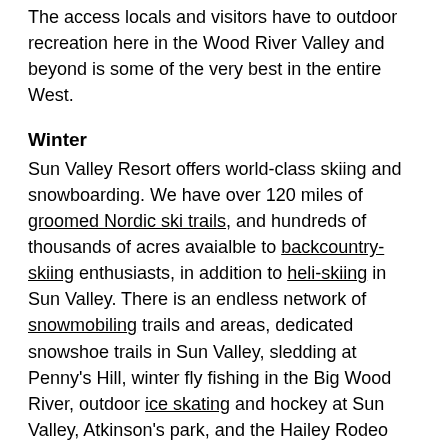The access locals and visitors have to outdoor recreation here in the Wood River Valley and beyond is some of the very best in the entire West.
Winter
Sun Valley Resort offers world-class skiing and snowboarding. We have over 120 miles of groomed Nordic ski trails, and hundreds of thousands of acres avaialble to backcountry-skiing enthusiasts, in addition to heli-skiing in Sun Valley. There is an endless network of snowmobiling trails and areas, dedicated snowshoe trails in Sun Valley, sledding at Penny's Hill, winter fly fishing in the Big Wood River, outdoor ice skating and hockey at Sun Valley, Atkinson's park, and the Hailey Rodeo Grounds. People in the know take advantage of the many hot springs in the area.
Summer